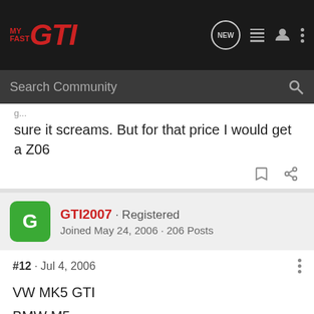MY FAST GTI
sure it screams. But for that price I would get a Z06
GTI2007 · Registered
Joined May 24, 2006 · 206 Posts
#12 · Jul 4, 2006
VW MK5 GTI
BMW M5